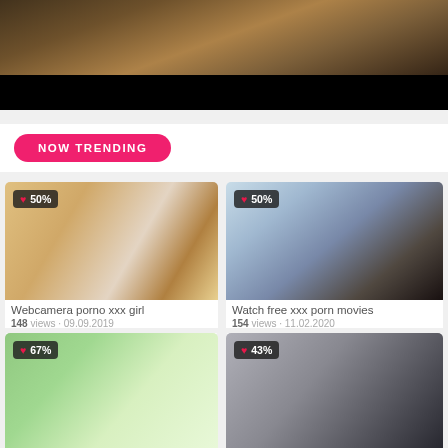[Figure (screenshot): Top video player area with dark/brown scene thumbnail above black bar]
NOW TRENDING
[Figure (photo): Video thumbnail: Webcamera porno xxx girl, 50% rating]
[Figure (photo): Video thumbnail: Watch free xxx porn movies, 50% rating]
Webcamera porno xxx girl
148 views · 09.09.2019
Watch free xxx porn movies
154 views · 11.02.2020
[Figure (photo): Video thumbnail: 67% rating, partial view]
[Figure (photo): Video thumbnail: 43% rating, partial view]